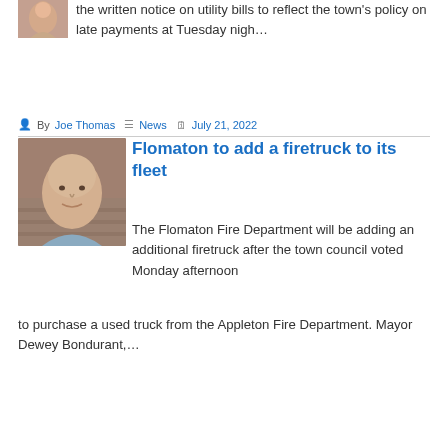[Figure (photo): Small portrait thumbnail of a person, partially cropped at top]
the written notice on utility bills to reflect the town's policy on late payments at Tuesday nigh…
By Joe Thomas  News  July 21, 2022
[Figure (photo): Portrait photo of an older bald man in a light blue shirt, brick background]
Flomaton to add a firetruck to its fleet
The Flomaton Fire Department will be adding an additional firetruck after the town council voted Monday afternoon to purchase a used truck from the Appleton Fire Department. Mayor Dewey Bondurant,…